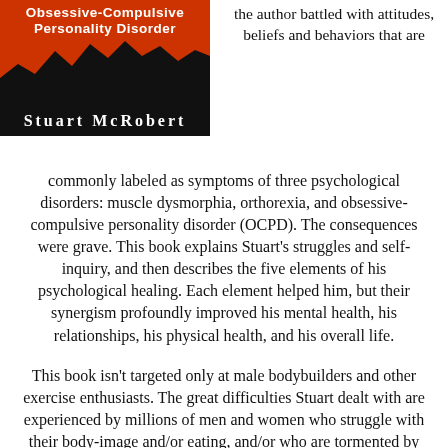[Figure (photo): Book cover for 'Obsessive-Compulsive Personality Disorder' by Stuart McRobert, with red and black design showing mountain silhouette]
the author battled with attitudes, beliefs and behaviors that are commonly labeled as symptoms of three psychological disorders: muscle dysmorphia, orthorexia, and obsessive-compulsive personality disorder (OCPD). The consequences were grave. This book explains Stuart’s struggles and self-inquiry, and then describes the five elements of his psychological healing. Each element helped him, but their synergism profoundly improved his mental health, his relationships, his physical health, and his overall life.
This book isn't targeted only at male bodybuilders and other exercise enthusiasts. The great difficulties Stuart dealt with are experienced by millions of men and women who struggle with their body-image and/or eating, and/or who are tormented by perfectionism or workaholism. His success story may inspire any of them